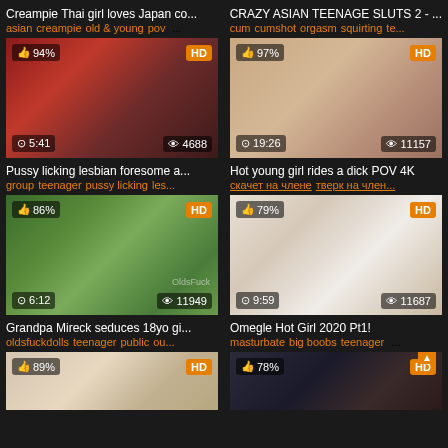[Figure (screenshot): Video thumbnail grid showing adult video website with 6 video cards in a 2-column layout]
Creampie Thai girl loves Japan co...
asian creampie old & young pov ...
CRAZY ASIAN TEENAGE SLUTS 2 - ...
cum cumshot orgasm squirting te...
Pussy licking lesbian foresome a...
group teenager pussy licking les...
Hot young girl rides a dick POV 4K
скачет на члене тверк на член...
Grandpa Mireck seduces 18yo gi...
oldsfuckdolls teenager public ou...
Omegle Hot Girl 2020 Pt1!
masturbate big boobs teenager ...